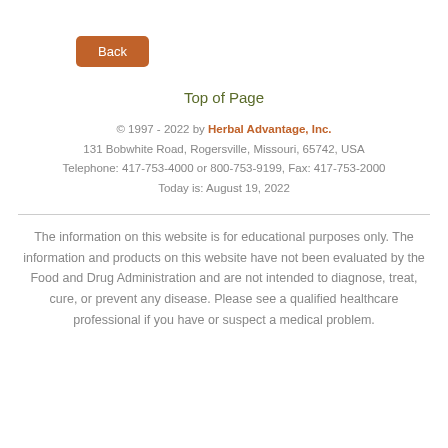Back
Top of Page
© 1997 - 2022 by Herbal Advantage, Inc.
131 Bobwhite Road, Rogersville, Missouri, 65742, USA
Telephone: 417-753-4000 or 800-753-9199, Fax: 417-753-2000
Today is: August 19, 2022
The information on this website is for educational purposes only. The information and products on this website have not been evaluated by the Food and Drug Administration and are not intended to diagnose, treat, cure, or prevent any disease. Please see a qualified healthcare professional if you have or suspect a medical problem.